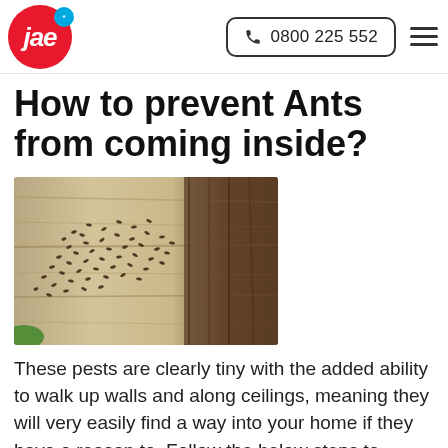JAE logo | 0800 225 552
How to prevent Ants from coming inside?
[Figure (photo): Close-up photograph of many ants on a wooden surface, showing a large swarm of small brown ants on light-colored wood grain.]
These pests are clearly tiny with the added ability to walk up walls and along ceilings, meaning they will very easily find a way into your home if they have a reason to. Follow the below steps to prevent an infestation